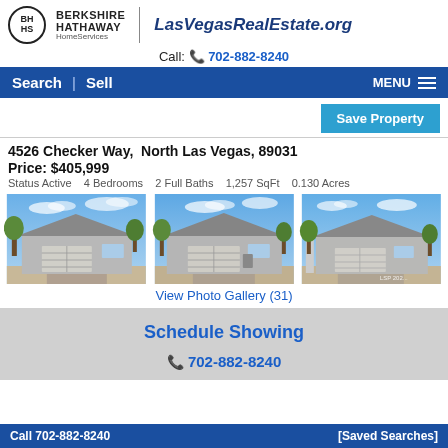BERKSHIRE HATHAWAY HomeServices | LasVegasRealEstate.org
Call: 702-882-8240
Search | Sell    MENU
Save Property
4526 Checker Way,  North Las Vegas, 89031
Price: $405,999
Status Active   4 Bedrooms   2 Full Baths   1,257 SqFt   0.130 Acres
[Figure (photo): Three exterior photos of a single-story house with a two-car garage in North Las Vegas. Blue sky, desert landscaping, gray/beige stucco exterior.]
View Photo Gallery (31)
Schedule Showing
702-882-8240
Call 702-882-8240    [Saved Searches]